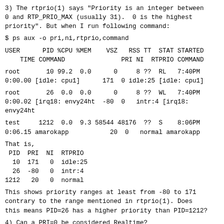3) The rtprio(1) says "Priority is an integer between 0 and RTP_PRIO_MAX (usually 31).  0 is the highest priority". But when I run following command:
$ ps aux -o pri,ni,rtprio,command
USER      PID %CPU %MEM    VSZ   RSS TT  STAT STARTED
    TIME COMMAND               PRI NI  RTPRIO COMMAND
root       10 99.2  0.0      0     8 ??  RL   7:40PM
0:00.00 [idle: cpu1]      171  0 idle:25 [idle: cpu1]
root       26  0.0  0.0      0     8 ??  WL   7:40PM
0:00.02 [irq18: envy24ht  -80  0   intr:4 [irq18:
envy24ht
test     1212  0.0  9.3 58544 48176  ??  S    8:06PM
0:06.15 amarokapp           20  0   normal amarokapp
That is,
 PID  PRI  NI  RTPRIO
  10  171   0  idle:25
  26  -80   0  intr:4
1212   20   0  normal
This shows priority ranges at least from -80 to 171
contrary to the range mentioned in rtprio(1). Does
this means PID=26 has a higher priority than PID=1212?
4) Can a PRI=0 be considered Realtime?